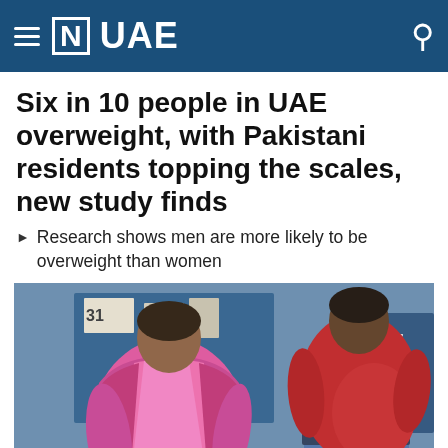≡ [N] UAE
Six in 10 people in UAE overweight, with Pakistani residents topping the scales, new study finds
Research shows men are more likely to be overweight than women
[Figure (photo): Two overweight women standing side by side. The woman on the left wears a pink top with a darker pink/red cardigan. The woman on the right wears a red long-sleeve top and jeans. They appear to be in an indoor setting with a blue board visible in the background.]